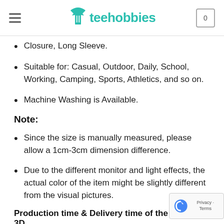teehobbies
Closure, Long Sleeve.
Suitable for: Casual, Outdoor, Daily, School, Working, Camping, Sports, Athletics, and so on.
Machine Washing is Available.
Note:
Since the size is manually measured, please allow a 1cm-3cm dimension difference.
Due to the different monitor and light effects, the actual color of the item might be slightly different from the visual pictures.
Production time & Delivery time of the Bomber 3D
Once you placed successfully your order, it will be processed